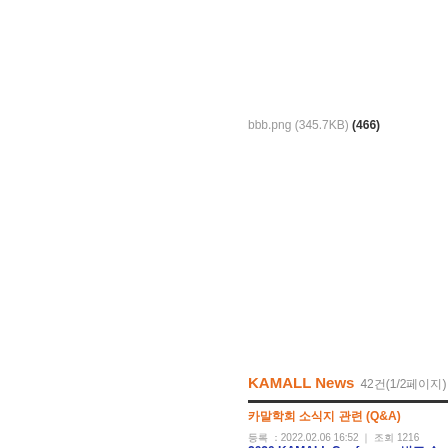bbb.png (345.7KB) (466)
KAMALL News   42건(1/2페이지)
카말학회 소식지 관련 (Q&A) | 등록 : 2022.02.06 16:52 | 조회 1216
2020 KAMALL Conference 발표 순서 | 등록 : 2021.01.15 14:13 | 조회 2236
2020 KAMALL Conference 발표 논문제출 안내 | 등록 : 2019.12.26 17:12 | 조회 4792
2019 KAMALL News 발행안내 | 등록 : 2019.02.01 16:12 | 조회 4466